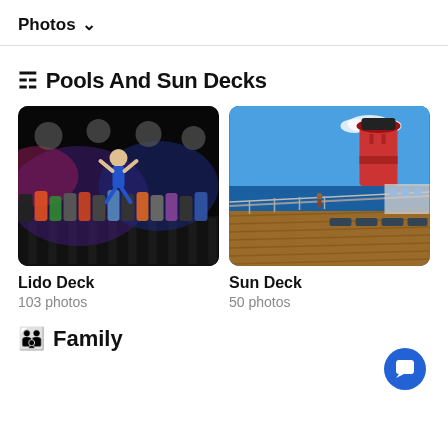Photos ∨
🏊 Pools And Sun Decks
[Figure (photo): Night party scene on Lido Deck with crowd of people and performer jumping, colorful lights]
Lido Deck
103 photos
[Figure (photo): Sun Deck of cruise ship showing wooden deck with lounge chairs, blue ocean and sky, ship funnel visible]
Sun Deck
50 photos
👨‍👧 Family